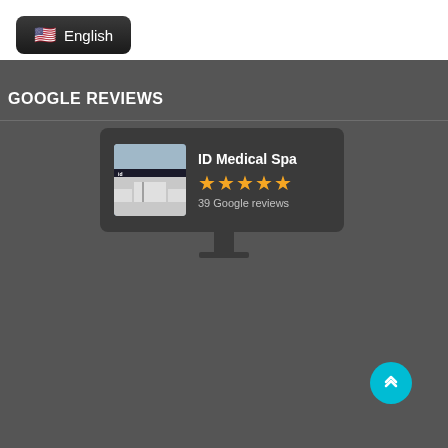[Figure (screenshot): Language selector button showing US flag emoji and 'English' text on dark rounded rectangle background]
GOOGLE REVIEWS
[Figure (screenshot): Google Reviews widget showing ID Medical Spa with 5 yellow stars and '39 Google reviews' text, displayed on a dark card with a storefront photo on the left]
[Figure (other): Cyan/teal circular scroll-to-top button with double upward chevron icon in bottom right corner]